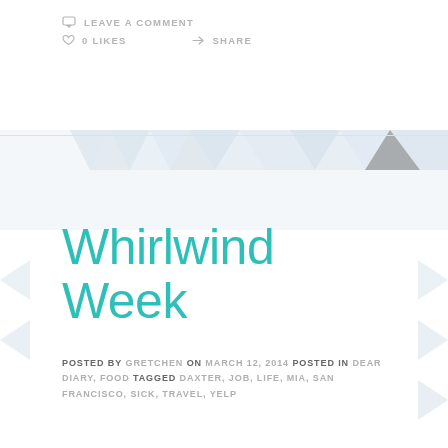LEAVE A COMMENT
0 LIKES   SHARE
Whirlwind Week
POSTED BY GRETCHEN ON MARCH 12, 2014 POSTED IN DEAR DIARY, FOOD TAGGED DAXTER, JOB, LIFE, MIA, SAN FRANCISCO, SICK, TRAVEL, YELP
Oh what a week, what a week, what a mighty fine week!
When I last left you, I was on my way to not-quite-sunny-but-wonderfully-temperate San Francisco for a week of Yelptastic shenanigans with the other 150+ Community Managers from 'round the